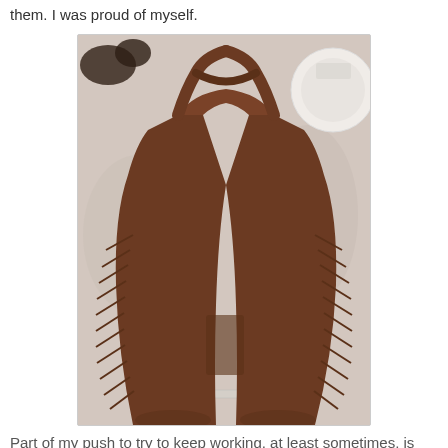them. I was proud of myself.
[Figure (photo): Brown leather chaps laid flat on a light speckled surface (table or countertop), showing the bib top, suspender straps crossing over, and fringe along both legs. A round plate and a nail file are also visible in the photo.]
Part of my push to try to keep working, at least sometimes, is wanting to fight the seasonal blahs. It would be all too easy to just not do anything. Other than maybe watch TV, that seems to be what I want to do these days. Once in awhile a day of binge watching shows that isn't